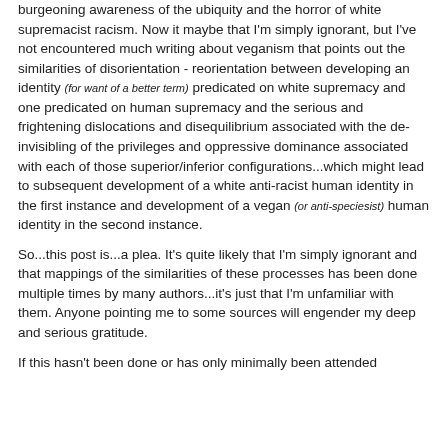burgeoning awareness of the ubiquity and the horror of white supremacist racism. Now it maybe that I'm simply ignorant, but I've not encountered much writing about veganism that points out the similarities of disorientation - reorientation between developing an identity (for want of a better term) predicated on white supremacy and one predicated on human supremacy and the serious and frightening dislocations and disequilibrium associated with the de-invisibling of the privileges and oppressive dominance associated with each of those superior/inferior configurations...which might lead to subsequent development of a white anti-racist human identity in the first instance and development of a vegan (or anti-speciesist) human identity in the second instance.
So...this post is...a plea. It's quite likely that I'm simply ignorant and that mappings of the similarities of these processes has been done multiple times by many authors...it's just that I'm unfamiliar with them. Anyone pointing me to some sources will engender my deep and serious gratitude.
If this hasn't been done or has only minimally been attended